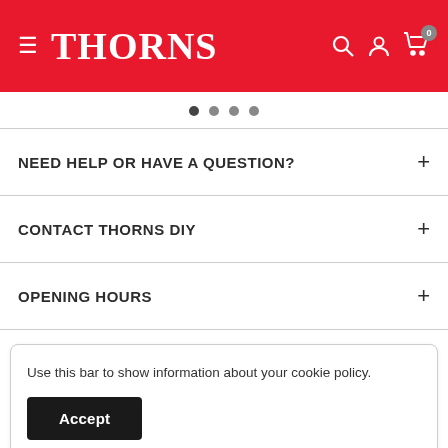[Figure (screenshot): Thorns DIY website header with red background, hamburger menu icon, THORNS logo in white serif font, search icon, user icon, and cart icon with badge showing 0]
• • • •
NEED HELP OR HAVE A QUESTION?
CONTACT THORNS DIY
OPENING HOURS
Use this bar to show information about your cookie policy.
Accept